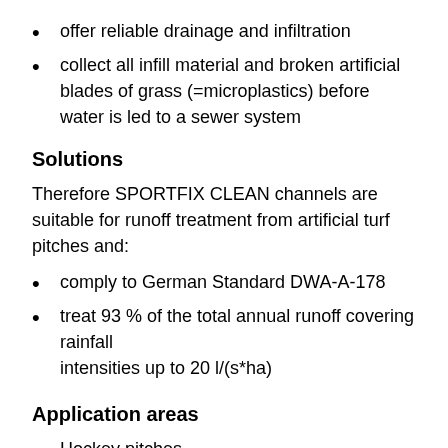offer reliable drainage and infiltration
collect all infill material and broken artificial blades of grass (=microplastics) before water is led to a sewer system
Solutions
Therefore SPORTFIX CLEAN channels are suitable for runoff treatment from artificial turf pitches and:
comply to German Standard DWA-A-178
treat 93 % of the total annual runoff covering rainfall intensities up to 20 l/(s*ha)
Application areas
Hockey pitches